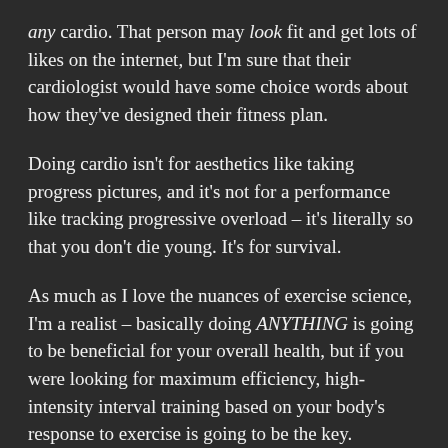any cardio. That person may look fit and get lots of likes on the internet, but I'm sure that their cardiologist would have some choice words about how they've designed their fitness plan.
Doing cardio isn't for aesthetics like taking progress pictures, and it's not for a performance like tracking progressive overload – it's literally so that you don't die young. It's for survival.
As much as I love the nuances of exercise science, I'm a realist – basically doing ANYTHING is going to be beneficial for your overall health, but if you were looking for maximum efficiency, high-intensity interval training based on your body's response to exercise is going to be the key.
You can do something that's low-intensity and